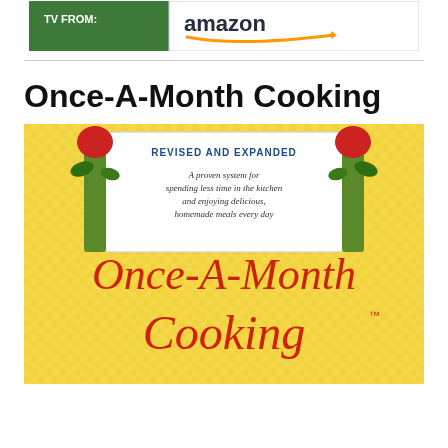[Figure (logo): Amazon banner/advertisement graphic with green background and Amazon logo]
Once-A-Month Cooking
[Figure (photo): Book cover of 'Once-A-Month Cooking' revised and expanded edition. Yellow checkered background with decorative border. Text reads: 'REVISED AND EXPANDED', 'A proven system for spending less time in the kitchen and enjoying delicious, homemade meals every day', 'Once-A-Month Cooking' in large red script lettering, and 'Cooking' partially visible at the bottom.]